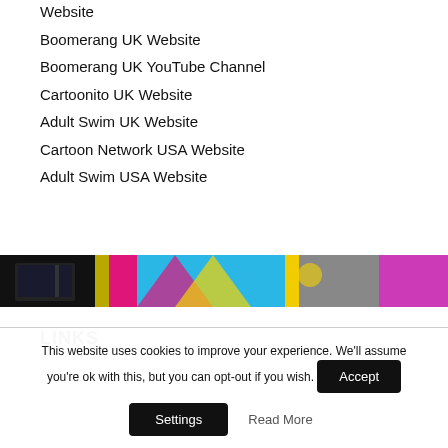Website
Boomerang UK Website
Boomerang UK YouTube Channel
Cartoonito UK Website
Adult Swim UK Website
Cartoon Network USA Website
Adult Swim USA Website
[Figure (photo): Colorful image strip showing dark and bright colored sections including pink, blue, yellow and purple segments]
LINKS
This website uses cookies to improve your experience. We'll assume you're ok with this, but you can opt-out if you wish. Accept Settings Read More